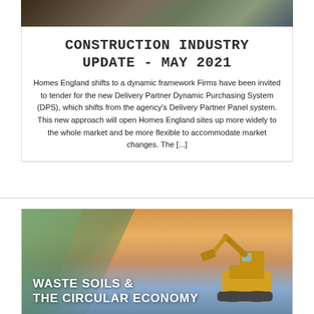[Figure (photo): Construction site photo at top of first article card]
CONSTRUCTION INDUSTRY UPDATE - MAY 2021
Homes England shifts to a dynamic framework Firms have been invited to tender for the new Delivery Partner Dynamic Purchasing System (DPS), which shifts from the agency's Delivery Partner Panel system. This new approach will open Homes England sites up more widely to the whole market and be more flexible to accommodate market changes. The [...]
[Figure (photo): Excavator/construction site photo with geometric overlay for Waste Soils and The Circular Economy article]
WASTE SOILS & THE CIRCULAR ECONOMY